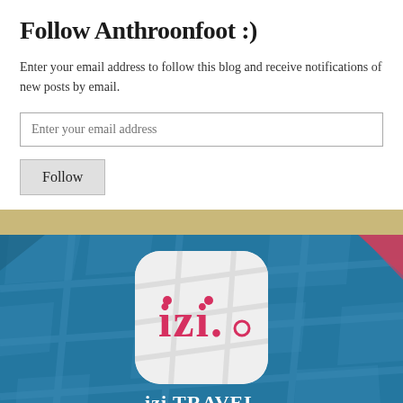Follow Anthroonfoot :)
Enter your email address to follow this blog and receive notifications of new posts by email.
[Figure (screenshot): Email input field with placeholder text 'Enter your email address']
[Figure (screenshot): Follow button (gray button with text 'Follow')]
[Figure (logo): izi.TRAVEL app logo on teal/blue map background. White rounded square icon with 'izi.' text in pink/red. Below the icon is text 'izi TRAVEL' in white.]